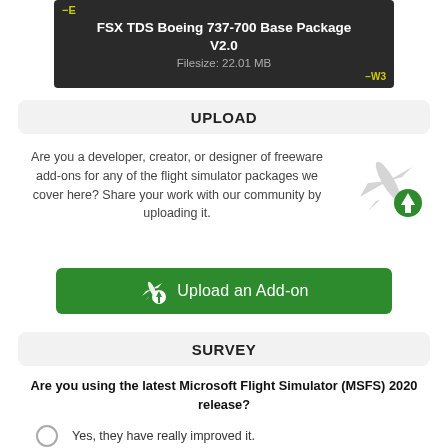[Figure (screenshot): Dark banner showing Boeing 737-700 Base Package image with yellow -E label top-left and -W3 label bottom-right]
FSX TDS Boeing 737-700 Base Package V2.0
Filesize: 22.01 MB
UPLOAD
Are you a developer, creator, or designer of freeware add-ons for any of the flight simulator packages we cover here? Share your work with our community by uploading it.
[Figure (illustration): Gray airplane silhouette with green upload arrow circle icon]
Upload an Add-on
SURVEY
Are you using the latest Microsoft Flight Simulator (MSFS) 2020 release?
Yes, they have really improved it.
No, I haven't downloaded it yet...